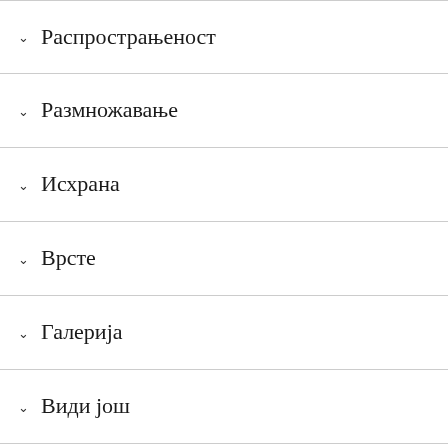Распрострањеност
Размножавање
Исхрана
Врсте
Галерија
Види још